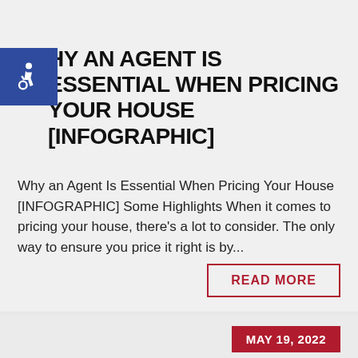[Figure (logo): Blue square accessibility icon with wheelchair symbol in white]
WHY AN AGENT IS ESSENTIAL WHEN PRICING YOUR HOUSE [INFOGRAPHIC]
Why an Agent Is Essential When Pricing Your House [INFOGRAPHIC] Some Highlights When it comes to pricing your house, there's a lot to consider. The only way to ensure you price it right is by...
READ MORE
MAY 19, 2022